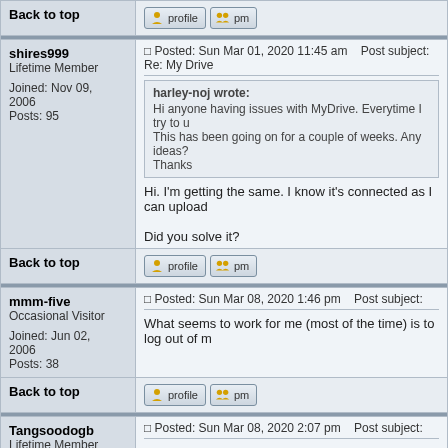Back to top
shires999
Lifetime Member
Joined: Nov 09, 2006
Posts: 95
Posted: Sun Mar 01, 2020 11:45 am   Post subject: Re: My Drive
harley-noj wrote:
Hi anyone having issues with MyDrive. Everytime I try to up
This has been going on for a couple of weeks. Any ideas?
Thanks
Hi. I'm getting the same. I know it's connected as I can upload

Did you solve it?
Back to top
mmm-five
Occasional Visitor
Joined: Jun 02, 2006
Posts: 38
Posted: Sun Mar 08, 2020 1:46 pm   Post subject:
What seems to work for me (most of the time) is to log out of m
Back to top
Tangsoodogb
Lifetime Member
Posted: Sun Mar 08, 2020 2:07 pm   Post subject:
Their official web site. http://uk.support.tomtom.com/